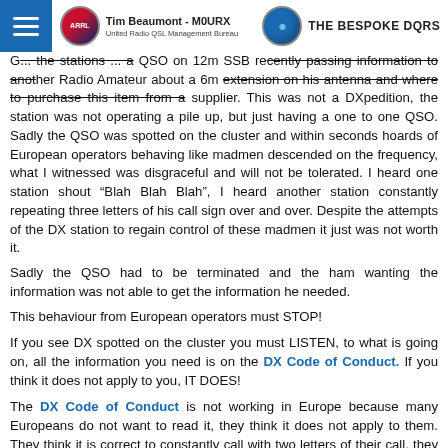Tim Beaumont - M0URX | THE BESPOKE DQRS
G... the stations ... a QSO on 12m SSB recently passing information to another Radio Amateur about a 6m extension on his antenna and where to purchase this item from a supplier. This was not a DXpedition, the station was not operating a pile up, but just having a one to one QSO. Sadly the QSO was spotted on the cluster and within seconds hoards of European operators behaving like madmen descended on the frequency, what I witnessed was disgraceful and will not be tolerated. I heard one station shout “Blah Blah Blah”, I heard another station constantly repeating three letters of his call sign over and over. Despite the attempts of the DX station to regain control of these madmen it just was not worth it.
Sadly the QSO had to be terminated and the ham wanting the information was not able to get the information he needed.
This behaviour from European operators must STOP!

If you see DX spotted on the cluster you must LISTEN, to what is going on, all the information you need is on the DX Code of Conduct. If you think it does not apply to you, IT DOES!

The DX Code of Conduct is not working in Europe because many Europeans do not want to read it, they think it does not apply to them. They think it is correct to constantly call with two letters of their call, they think it is their right to abuse and bully DX, well enough is enough! You must stop and think. In the last two days I have had two DX operators that I am manager for QRT because of such behaviour.
Just what can be done to stop this?
[Figure (other): Tweet button with Twitter bird logo]